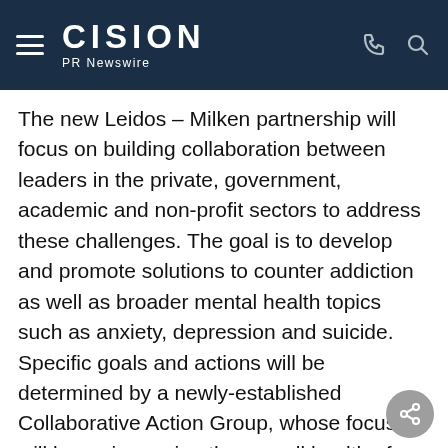CISION PR Newswire
The new Leidos – Milken partnership will focus on building collaboration between leaders in the private, government, academic and non-profit sectors to address these challenges. The goal is to develop and promote solutions to counter addiction as well as broader mental health topics such as anxiety, depression and suicide. Specific goals and actions will be determined by a newly-established Collaborative Action Group, whose focus will be on improving the overall health of workforces and the communities where they live and work.
"The ongoing pandemic is shining a light on the to prioritize mental health and the disease of